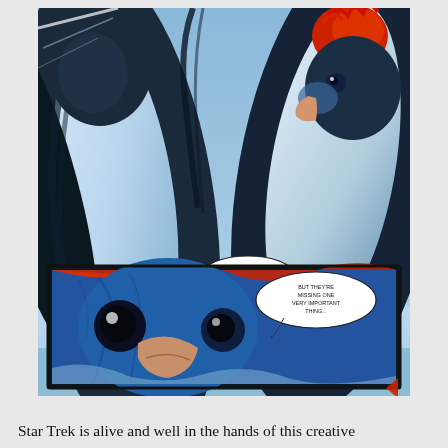[Figure (illustration): Comic book page showing two enormous alien xeno-penguins with blue and white plumage, red crests, and large beaks. A small human figure in a yellow coat and red hat stands between them on an icy surface. Speech bubbles read: 'XENO-PENGUINS, TO BE PRECISE!' and 'THIS COULD BE MY GREATEST DISCOVERY YET!' A lower inset panel shows a close-up of one penguin's face with a speech bubble: 'BUT THEY'RE MISSING ONE VERY IMPORTANT THING...']
Star Trek is alive and well in the hands of this creative